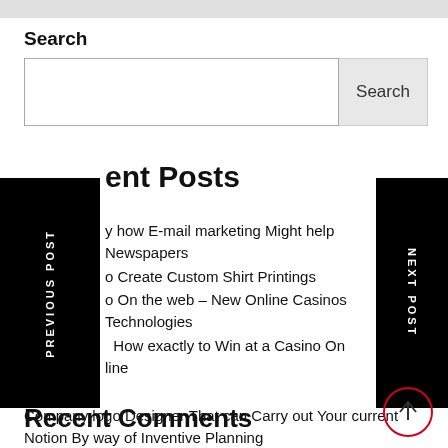Search
Search input box with Search button
Recent Posts
y how E-mail marketing Might help Newspapers
o Create Custom Shirt Printings
o On the web – New Online Casinos Technologies
How exactly to Win at a Casino On line
Company logo Designer That can Carry out Your current Notion By way of Inventive Planning
Recent Comments